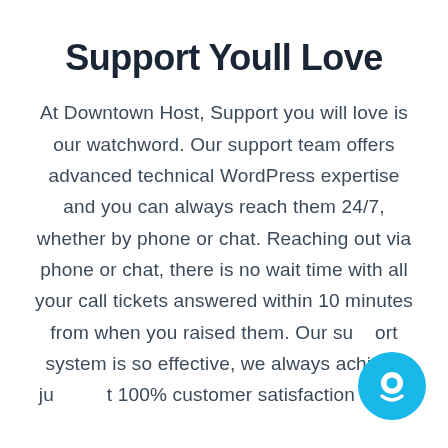Support Youll Love
At Downtown Host, Support you will love is our watchword. Our support team offers advanced technical WordPress expertise and you can always reach them 24/7, whether by phone or chat. Reaching out via phone or chat, there is no wait time with all your call tickets answered within 10 minutes from when you raised them. Our support system is so effective, we always achieve just about 100% customer satisfaction rates.
[Figure (illustration): Blue circular chat/support icon in the bottom-right corner of the page]